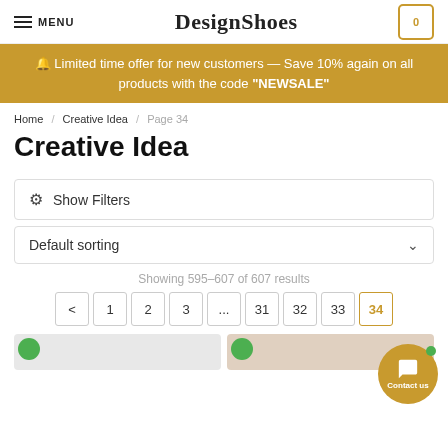DesignShoes — MENU — Cart 0
🔔 Limited time offer for new customers — Save 10% again on all products with the code "NEWSALE"
Home / Creative Idea / Page 34
Creative Idea
Show Filters
Default sorting
Showing 595–607 of 607 results
< 1 2 3 ... 31 32 33 34